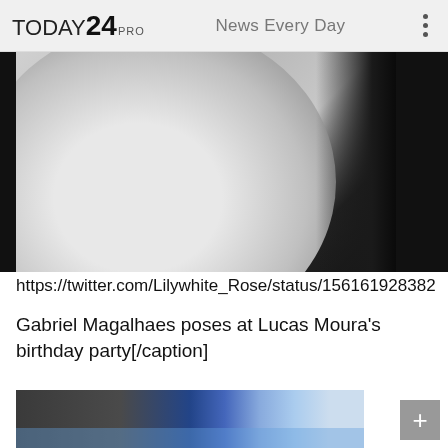TODAY24 PRO — News Every Day
[Figure (photo): Close-up photo of a white shirt/clothing item against a dark background]
https://twitter.com/Lilywhite_Rose/status/156161928382…
Gabriel Magalhaes poses at Lucas Moura's birthday party[/caption]
[Figure (photo): Party scene with colorful blue and purple lighting effects, people in background]